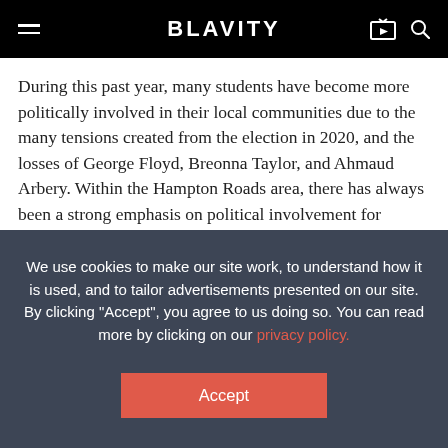BLAVITY
During this past year, many students have become more politically involved in their local communities due to the many tensions created from the election in 2020, and the losses of George Floyd, Breonna Taylor, and Ahmaud Arbery. Within the Hampton Roads area, there has always been a strong emphasis on political involvement for college students. However, within the past year, it has
We use cookies to make our site work, to understand how it is used, and to tailor advertisements presented on our site. By clicking "Accept", you agree to us doing so. You can read more by clicking on our privacy policy.